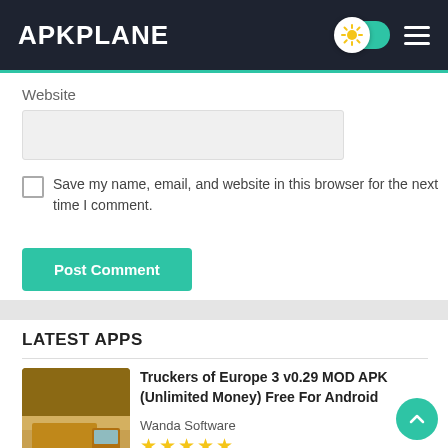APKPLANE
Website
Save my name, email, and website in this browser for the next time I comment.
Post Comment
LATEST APPS
Truckers of Europe 3 v0.29 MOD APK (Unlimited Money) Free For Android
Wanda Software